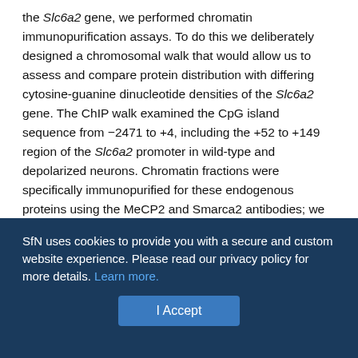the Slc6a2 gene, we performed chromatin immunopurification assays. To do this we deliberately designed a chromosomal walk that would allow us to assess and compare protein distribution with differing cytosine-guanine dinucleotide densities of the Slc6a2 gene. The ChIP walk examined the CpG island sequence from −2471 to +4, including the +52 to +149 region of the Slc6a2 promoter in wild-type and depolarized neurons. Chromatin fractions were specifically immunopurified for these endogenous proteins using the MeCP2 and Smarca2 antibodies; we then assessed the level of determinant enrichment with the unmethylated Slc6a2 gene. ChIP analyses from mouse nondepolarized neuronal cultures revealed that MeCP2 and the Smarca2 regulatory proteins are tightly associated with sequences −150 to +4, −269 to −68, and −1035 to −832 of the
SfN uses cookies to provide you with a secure and custom website experience. Please read our privacy policy for more details. Learn more.